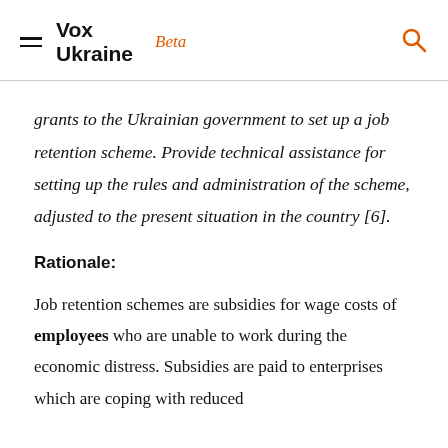Vox Ukraine  Beta
grants to the Ukrainian government to set up a job retention scheme. Provide technical assistance for setting up the rules and administration of the scheme, adjusted to the present situation in the country [6].
Rationale:
Job retention schemes are subsidies for wage costs of employees who are unable to work during the economic distress. Subsidies are paid to enterprises which are coping with reduced